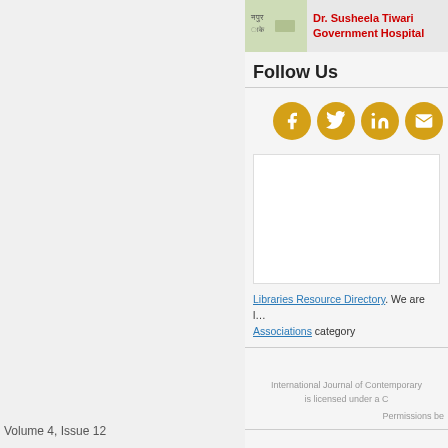[Figure (map): Partial map screenshot with red text showing Dr. Susheela Tiwari Government Hospital]
Follow Us
[Figure (infographic): Social media icons: Facebook, Twitter, LinkedIn, Email on golden circular backgrounds]
[Figure (screenshot): White box/widget area]
Libraries Resource Directory. We are listed in Associations category
International Journal of Contemporary is licensed under a C
Permissions be
Volume 4, Issue 12